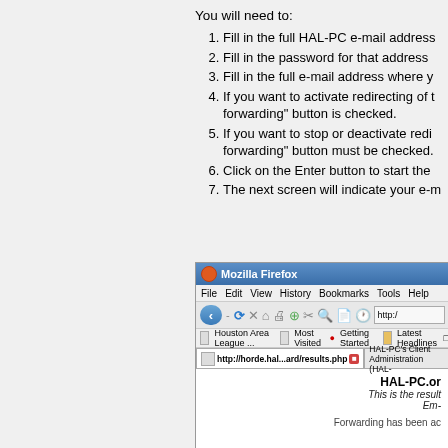You will need to:
Fill in the full HAL-PC e-mail address
Fill in the password for that address
Fill in the full e-mail address where y
If you want to activate redirecting of forwarding" button is checked.
If you want to stop or deactivate redi forwarding" button must be checked.
Click on the Enter button to start the
The next screen will indicate your e-
[Figure (screenshot): Mozilla Firefox browser window showing HAL-PC.org email forwarding results page with message 'Forwarding has been ac...']